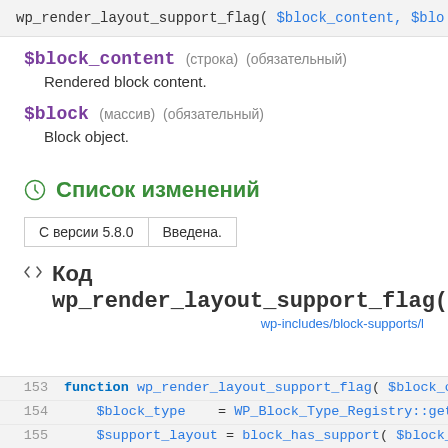wp_render_layout_support_flag( $block_content, $blo
$block_content (строка) (обязательный)
Rendered block content.
$block (массив) (обязательный)
Block object.
Список изменений
| С версии 5.8.0 | Введена. |
| --- | --- |
Код wp_render_layout_support_flag()  WP 6.0
wp-includes/block-supports/l
153  function wp_render_layout_support_flag( $block_cont
154      $block_type    = WP_Block_Type_Registry::get_i
155      $support_layout = block_has_support( $block_typ